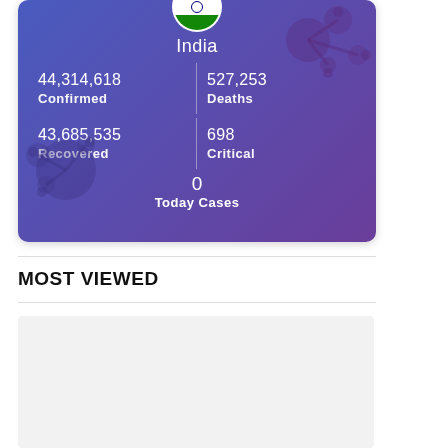[Figure (infographic): India COVID-19 statistics card with gradient purple background showing confirmed cases, deaths, recovered, critical, and today cases]
MOST VIEWED
[Figure (photo): Thumbnail image placeholder (light gray box)]